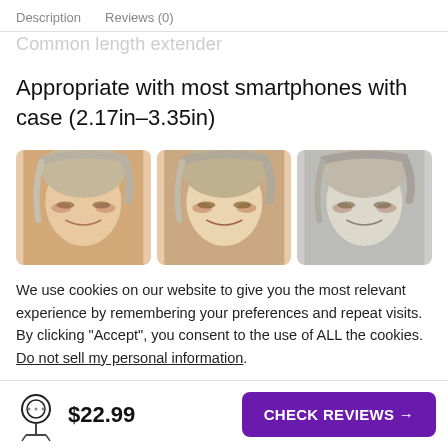Description  Reviews (0)
Common length extender
Appropriate with most smartphones with case (2.17in–3.35in)
[Figure (photo): Three side-by-side photos of a woman with silver/blonde hair, eyes closed, with different ring light effects on face]
We use cookies on our website to give you the most relevant experience by remembering your preferences and repeat visits. By clicking “Accept”, you consent to the use of ALL the cookies.
Do not sell my personal information.
$22.99  CHECK REVIEWS →